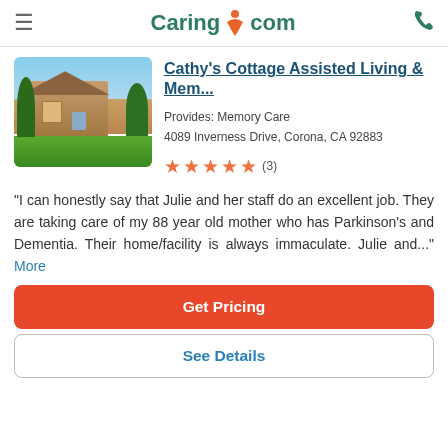Caring.com
[Figure (photo): Exterior photo of Cathy's Cottage Assisted Living facility, a beige stucco house with palm trees and green lawn under blue sky]
Cathy's Cottage Assisted Living & Mem...
Provides: Memory Care
4089 Inverness Drive, Corona, CA 92883
★★★★★ (3)
"I can honestly say that Julie and her staff do an excellent job. They are taking care of my 88 year old mother who has Parkinson's and Dementia. Their home/facility is always immaculate. Julie and..." More
Get Pricing
See Details